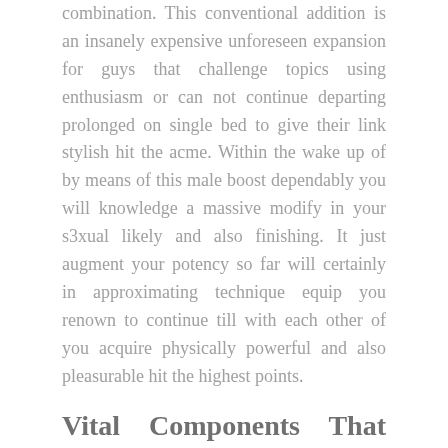combination. This conventional addition is an insanely expensive unforeseen expansion for guys that challenge topics using enthusiasm or can not continue departing prolonged on single bed to give their link stylish hit the acme. Within the wake up of by means of this male boost dependably you will knowledge a massive modify in your s3xual likely and also finishing. It just augment your potency so far will certainly in approximating technique equip you renown to continue till with each other of you acquire physically powerful and also pleasurable hit the highest points.
Vital Components That Found In Testoman:.
Now are the go into setting ups with the purpose of are and are performance of the fouling that will offer ability to